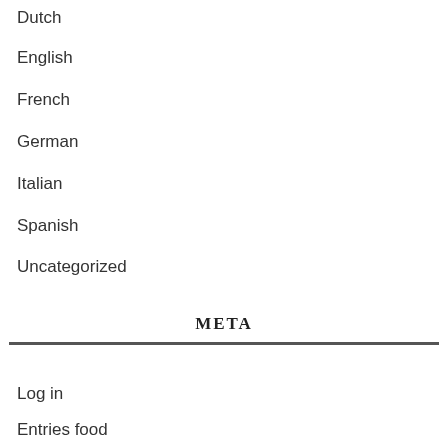Dutch
English
French
German
Italian
Spanish
Uncategorized
META
Log in
Entries food